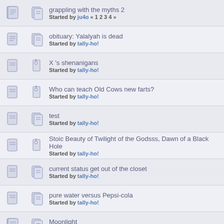grappling with the myths 2 — Started by ju4o « 1 2 3 4 »
obituary: Yalalyah is dead — Started by tally-ho!
X 's shenanigans — Started by tally-ho!
Who can teach Old Cows new farts? — Started by tally-ho!
test — Started by tally-ho!
Stoic Beauty of Twilight of the Godsss, Dawn of a Black Hole — Started by tally-ho!
current status get out of the closet — Started by tally-ho!
pure water versus Pepsi-cola — Started by tally-ho!
Moonlight — Started by ju4o « 1 2 3 »
Victor Sanchez - Toltecs Of The New Millennium — Started by Mr X « 1 2 »